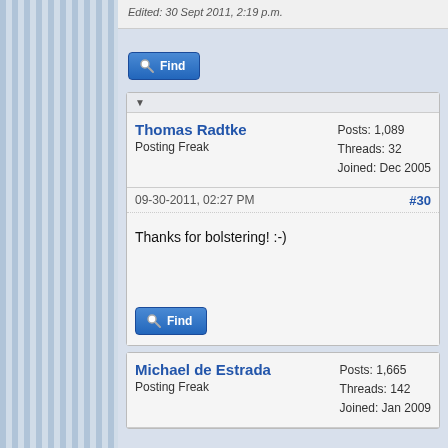Edited: 30 Sept 2011, 2:19 p.m.
Find
Thomas Radtke
Posting Freak
Posts: 1,089
Threads: 32
Joined: Dec 2005
09-30-2011, 02:27 PM
#30
Thanks for bolstering! :-)
Find
Michael de Estrada
Posting Freak
Posts: 1,665
Threads: 142
Joined: Jan 2009